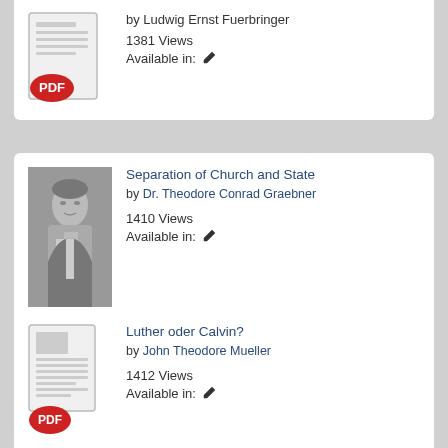[Figure (other): PDF document icon with red PDF badge]
by Ludwig Ernst Fuerbringer
1381 Views
Available in: ✏
[Figure (photo): Black and white portrait photo of Dr. Theodore Conrad Graebner]
Separation of Church and State
by Dr. Theodore Conrad Graebner
1410 Views
Available in: ✏
[Figure (other): PDF document icon with red PDF badge]
Luther oder Calvin?
by John Theodore Mueller
1412 Views
Available in: ✏